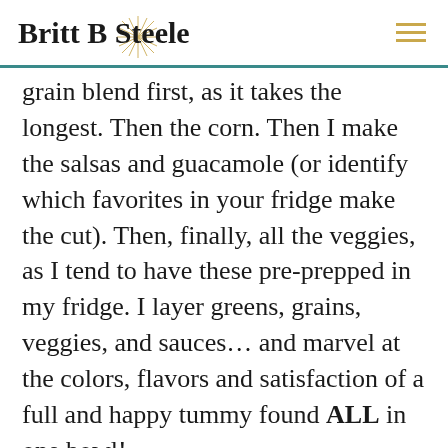Britt B Steele
grain blend first, as it takes the longest. Then the corn. Then I make the salsas and guacamole (or identify which favorites in your fridge make the cut). Then, finally, all the veggies, as I tend to have these pre-prepped in my fridge. I layer greens, grains, veggies, and sauces… and marvel at the colors, flavors and satisfaction of a full and happy tummy found ALL in one bowl!